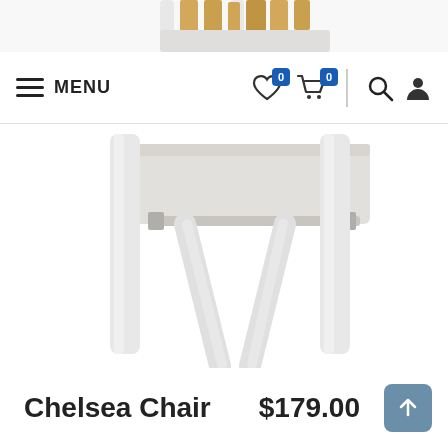[Figure (screenshot): Top partial strip showing a white chair with wooden/bamboo backrest elements]
MENU | 0 wishlist | 0 cart | search | account
[Figure (photo): White metal outdoor chair (Chelsea Chair) shown from a close-up angle, white aluminum frame with light grey textilene seat cushion panel, viewed from slightly below/side]
Chelsea Chair    $179.00